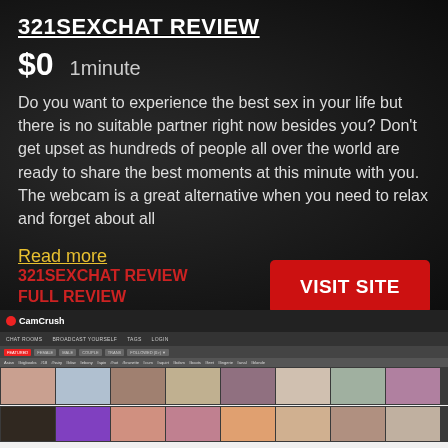321SEXCHAT REVIEW
$0   1minute
Do you want to experience the best sex in your life but there is no suitable partner right now besides you? Don't get upset as hundreds of people all over the world are ready to share the best moments at this minute with you. The webcam is a great alternative when you need to relax and forget about all
Read more
321SEXCHAT REVIEW
FULL REVIEW
VISIT SITE
[Figure (screenshot): Screenshot of CamCrush webcam chat website showing navigation bar, category tabs (Featured, Female, Male, Couple, Trans, Followed), tag filters, and two rows of webcam thumbnail previews]